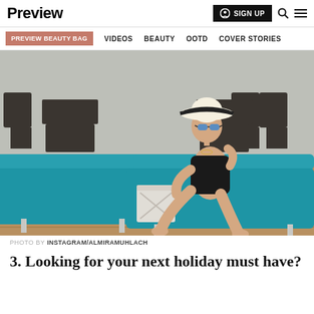Preview | SIGN UP
PREVIEW BEAUTY BAG | VIDEOS | BEAUTY | OOTD | COVER STORIES
[Figure (photo): Woman in black swimsuit and striped sun hat sitting on a turquoise pool lounger with wicker outdoor furniture in background]
PHOTO BY INSTAGRAM/ALMIRAMUHLACH
3. Looking for your next holiday must have?